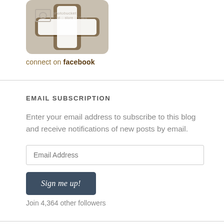[Figure (logo): Facebook connect icon with cross/plus symbol on brown/tan rounded square background, with Photobucket watermark overlay]
connect on facebook
EMAIL SUBSCRIPTION
Enter your email address to subscribe to this blog and receive notifications of new posts by email.
Email Address
Sign me up!
Join 4,364 other followers
CATEGORIES
Select Category